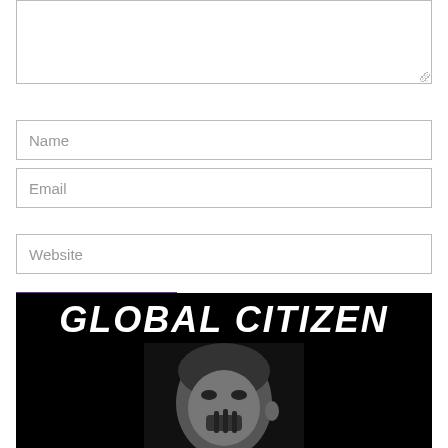[Figure (screenshot): Textarea input box with resize handle at bottom right]
[Figure (screenshot): Name text input field with placeholder text 'Name']
[Figure (screenshot): Email text input field with placeholder text 'Email']
[Figure (screenshot): Website text input field with placeholder text 'Website']
[Figure (screenshot): Purple 'Post Comment' button]
[Figure (photo): Black and white image with large white bold text reading 'GLOBAL CITIZEN' at the top, and a black and white photo of a person's face (partially visible) below]